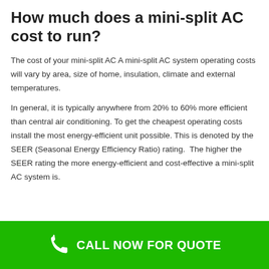How much does a mini-split AC cost to run?
The cost of your mini-split AC A mini-split AC system operating costs will vary by area, size of home, insulation, climate and external temperatures.
In general, it is typically anywhere from 20% to 60% more efficient than central air conditioning. To get the cheapest operating costs install the most energy-efficient unit possible. This is denoted by the SEER (Seasonal Energy Efficiency Ratio) rating.  The higher the SEER rating the more energy-efficient and cost-effective a mini-split AC system is.
CALL NOW FOR QUOTE